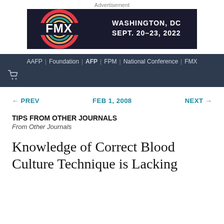Advertisement
[Figure (other): FMX conference advertisement banner. Black background with colorful circular logo on the left showing 'FMX' text. Right side shows text: WASHINGTON, DC / SEPT. 20-23, 2022]
AAFP | Foundation | AFP | FPM | National Conference | FMX
← PREV    FEB 1, 2008    NEXT →
TIPS FROM OTHER JOURNALS
From Other Journals
Knowledge of Correct Blood Culture Technique is Lacking